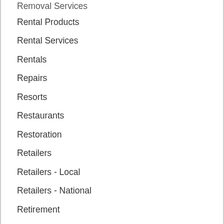Removal Services
Rental Products
Rental Services
Rentals
Repairs
Resorts
Restaurants
Restoration
Retailers
Retailers - Local
Retailers - National
Retirement
Retirement Communities
Roadside Assistance
Roadside Services
Roof Care Removal...